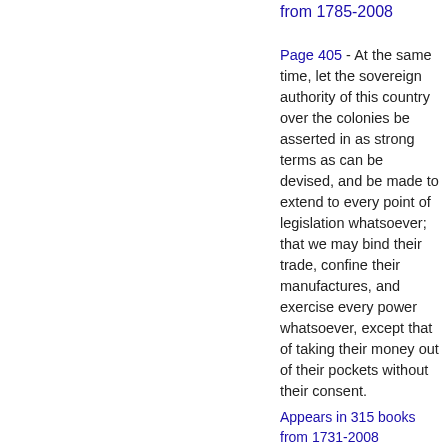from 1785-2008
Page 405 - At the same time, let the sovereign authority of this country over the colonies be asserted in as strong terms as can be devised, and be made to extend to every point of legislation whatsoever; that we may bind their trade, confine their manufactures, and exercise every power whatsoever, except that of taking their money out of their pockets without their consent.
Appears in 315 books from 1731-2008
Page 383 - Oh, the bells,